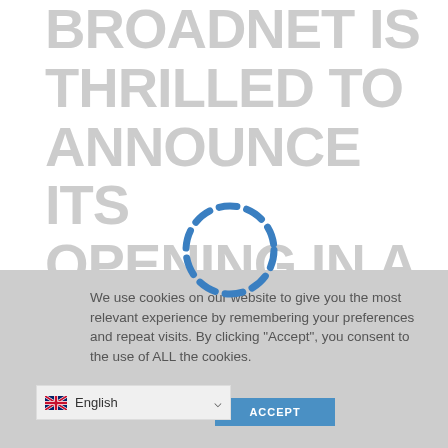BROADNET IS THRILLED TO ANNOUNCE ITS OPENING IN A NEW AREA, BRINGING THE LATEST INNOVATION OF THE CYBERSECURITY INTO
[Figure (other): Dashed circle loading spinner in blue, centered on the page transition area]
We use cookies on our website to give you the most relevant experience by remembering your preferences and repeat visits. By clicking "Accept", you consent to the use of ALL the cookies.
ACCEPT
English